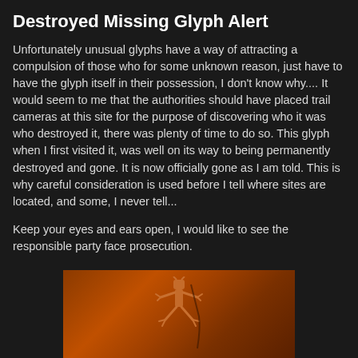Destroyed Missing Glyph Alert
Unfortunately unusual glyphs have a way of attracting a compulsion of those who for some unknown reason, just have to have the glyph itself in their possession, I don't know why.... It would seem to me that the authorities should have placed trail cameras at this site for the purpose of discovering who it was who destroyed it, there was plenty of time to do so. This glyph when I first visited it, was well on its way to being permanently destroyed and gone. It is now officially gone as I am told. This is why careful consideration is used before I tell where sites are located, and some, I never tell...
Keep your eyes and ears open, I would like to see the responsible party face prosecution.
[Figure (photo): A photograph of a rock petroglyph showing a lizard or humanoid figure carved into reddish-brown stone, illuminated with warm orange light.]